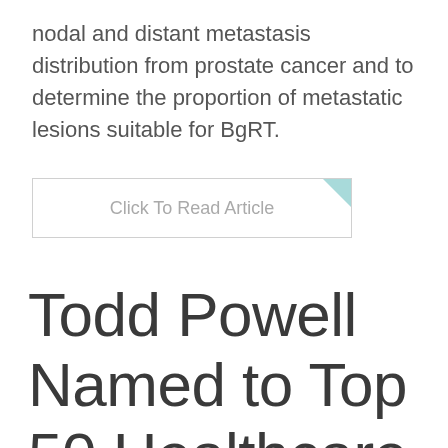nodal and distant metastasis distribution from prostate cancer and to determine the proportion of metastatic lesions suitable for BgRT.
[Figure (other): A button/link labeled 'Click To Read Article' with a teal corner accent, bordered rectangle style]
Todd Powell Named to Top 50 Healthcare Technology CEOs